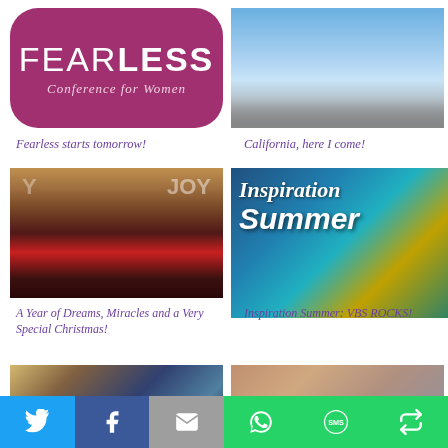[Figure (logo): Fearless Conference for Women logo — purple rounded rectangle with white text FEAR LESS and script subtitle]
[Figure (photo): Aerial view of clouds and sky from airplane window]
Fearless starts tomorrow!
California, here I come!
[Figure (photo): Family photo with JOY decorations in background — parents and two children in red/dark clothing]
[Figure (photo): Inspiration Summer VBS ROCKS event banner with teal and gold colors]
A Year of Dreams, Miracles and a Very Special Christmas!
Inspiration Summer: VBS ROCKS!
[Figure (photo): Partial photo of indoor event space]
[Figure (photo): Partial photo of people posing together]
[Figure (infographic): Social share bar with Twitter, Facebook, Email, WhatsApp, SMS, and Share icons]